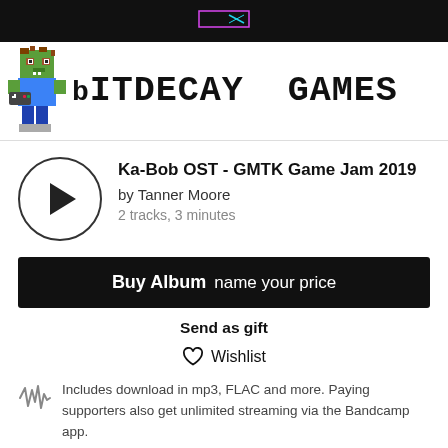[Figure (logo): Top black navigation bar with a small pink/cyan logo graphic centered]
[Figure (logo): Bit Decay Games logo: pixel art character (green zombie/monster) next to bold monospace text 'bITDECAY GAMES']
Ka-Bob OST - GMTK Game Jam 2019
by Tanner Moore
2 tracks, 3 minutes
Buy Album  name your price
Send as gift
Wishlist
Includes download in mp3, FLAC and more. Paying supporters also get unlimited streaming via the Bandcamp app.